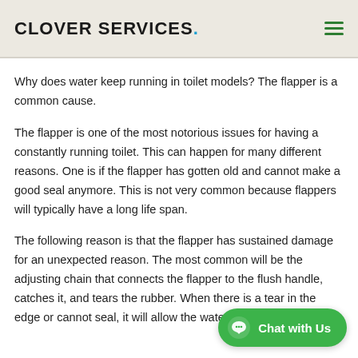Clover Services.
Why does water keep running in toilet models? The flapper is a common cause.
The flapper is one of the most notorious issues for having a constantly running toilet. This can happen for many different reasons. One is if the flapper has gotten old and cannot make a good seal anymore. This is not very common because flappers will typically have a long life span.
The following reason is that the flapper has sustained damage for an unexpected reason. The most common will be the adjusting chain that connects the flapper to the flush handle, catches it, and tears the rubber. When there is a tear in the edge or cannot seal, it will allow the water to